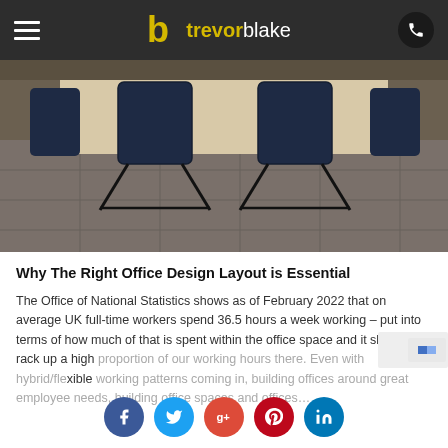trevorblake — navigation header with logo and hamburger menu
[Figure (photo): Conference room with a large light-colored table and dark navy/blue chairs on a patterned carpet floor, viewed from eye level]
Why The Right Office Design Layout is Essential
The Office of National Statistics shows as of February 2022 that on average UK full-time workers spend 36.5 hours a week working – put into terms of how much of that is spent within the office space and it shows we rack up a high proportion of our working hours there. Even with hybrid/flexible working patterns coming in, building offices around great employee needs, building office spaces and offices…